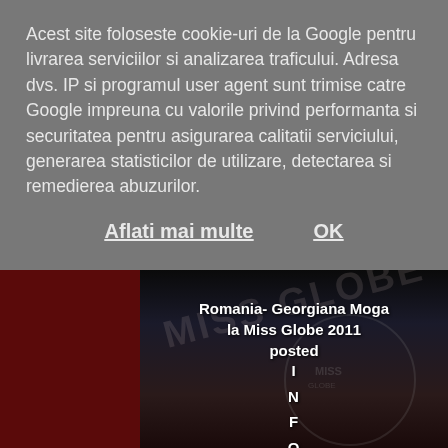Acest site foloseste cookie-uri de la Google pentru livrarea serviciilor si analizarea traficului. Adresa dvs. IP si programul user agent sunt trimise catre Google impreuna cu valorile privind performanta si securitatea pentru asigurarea calitatii serviciului, generarea statisticilor de utilizare, detectarea si remedierea abuzurilor.
Aflati mai multe
OK
[Figure (photo): Dark background photo showing a person in dark clothing. Text overlay reads: 'Romania- Georgiana Moga la Miss Globe 2011 posted' followed by vertical letters I N F O F A S H I O (suggesting INFOFASHION). A watermark logo is partially visible in the lower right area with MISS GLOBE text.]